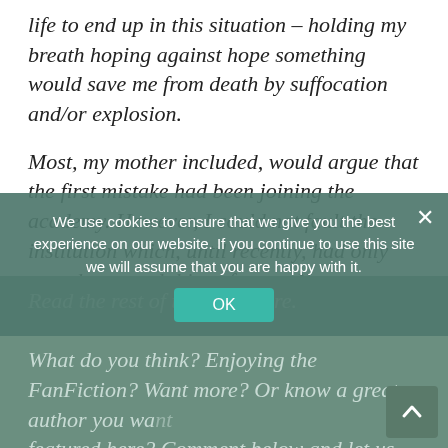life to end up in this situation – holding my breath hoping against hope something would save me from death by suffocation and/or explosion.
Most, my mother included, would argue that the first mistake had been joining the academy. However, I could not fault the institution which, until recently, had only ever done good things for me. No, as my arms grew weak and failed me, forcing the use of my hands, I knew that my life had taken an irreversible turn for the worst the day I had met John Harrison."
Read the rest of the story here.
What do you think? Enjoying the FanFiction? Want more? Or know a great author you want featured here? Comment below and let us know!
We use cookies to ensure that we give you the best experience on our website. If you continue to use this site we will assume that you are happy with it.